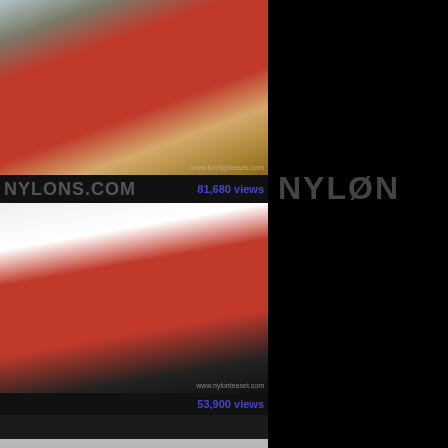[Figure (photo): Photo of person standing near red couch wearing jeans and high heels]
NYLONS.COM
81,680 views
[Figure (photo): Photo of blonde woman in black outfit lying on red sofa]
53,900 views
[Figure (photo): Partial photo at bottom]
[Figure (logo): NYLONS.COM logo on right dark panel]